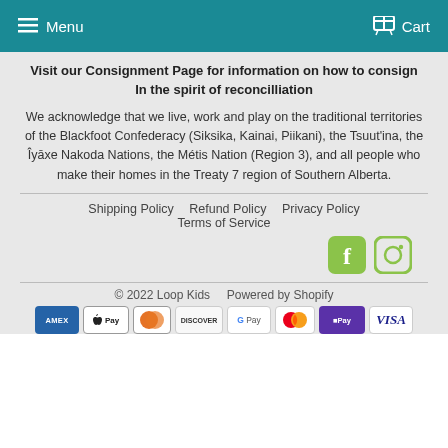Menu   Cart
Visit our Consignment Page for information on how to consign
In the spirit of reconcilliation
We acknowledge that we live, work and play on the traditional territories of the Blackfoot Confederacy (Siksika, Kainai, Piikani), the Tsuut'ina, the Îyāxe Nakoda Nations, the Métis Nation (Region 3), and all people who make their homes in the Treaty 7 region of Southern Alberta.
Shipping Policy   Refund Policy   Privacy Policy
Terms of Service
[Figure (logo): Facebook and Instagram social media icons in lime green color]
© 2022 Loop Kids   Powered by Shopify
[Figure (infographic): Payment method logos: American Express, Apple Pay, Diners Club, Discover, Google Pay, Mastercard, ShopifyPay, Visa]